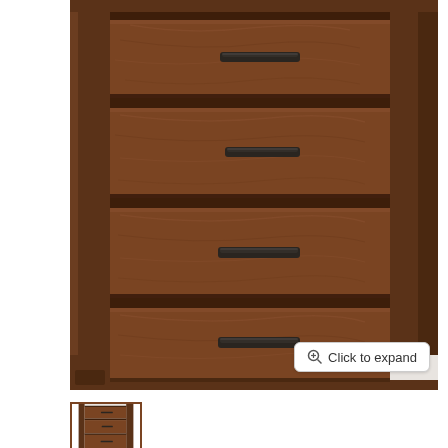[Figure (photo): A dark walnut/espresso brown wooden chest of drawers (tall dresser) with 4 visible drawers, each featuring a dark metal horizontal bar pull handle. The dresser has thick wooden frame posts on the sides and visible wood grain texture. Product photo on light gray background.]
Click to expand
[Figure (photo): Small thumbnail image of the same dark brown wooden dresser, selected/active state indicated by a brown border.]